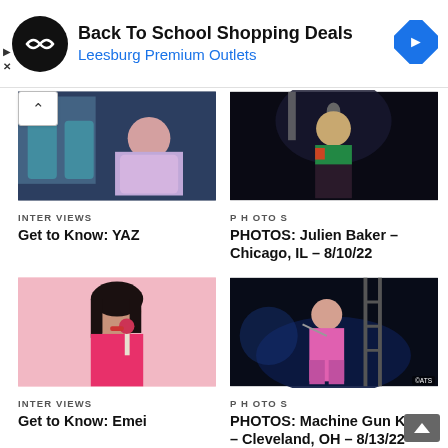[Figure (infographic): Advertisement banner: Back To School Shopping Deals, Leesburg Premium Outlets, with circular logo and navigation arrow icon]
[Figure (photo): Young woman in pink hoodie sitting on a bus, looking to the side]
INTERVIEWS
Get to Know: YAZ
[Figure (photo): Julien Baker performing on stage with microphone, wearing colorful outfit]
PHOTOS
PHOTOS: Julien Baker – Chicago, IL – 8/10/22
[Figure (photo): Emei posing with dark hair and pink outfit, with lollipop]
INTERVIEWS
Get to Know: Emei
[Figure (photo): Machine Gun Kelly performing on stage in pink outfit with ladder]
PHOTOS
PHOTOS: Machine Gun Kelly – Cleveland, OH – 8/13/22